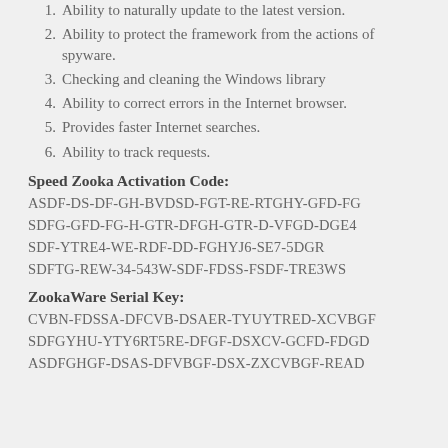1. Ability to naturally update to the latest version.
2. Ability to protect the framework from the actions of spyware.
3. Checking and cleaning the Windows library
4. Ability to correct errors in the Internet browser.
5. Provides faster Internet searches.
6. Ability to track requests.
Speed Zooka Activation Code:
ASDF-DS-DF-GH-BVDSD-FGT-RE-RTGHY-GFD-FG
SDFG-GFD-FG-H-GTR-DFGH-GTR-D-VFGD-DGE4
SDF-YTRE4-WE-RDF-DD-FGHYJ6-SE7-5DGR
SDFTG-REW-34-543W-SDF-FDSS-FSDF-TRE3WS
ZookaWare Serial Key:
CVBN-FDSSA-DFCVB-DSAER-TYUYTRED-XCVBGF
SDFGYHU-YTY6RT5RE-DFGF-DSXCV-GCFD-FDGD
ASDFGHGF-DSAS-DFVBGF-DSX-ZXCVBGF-READ